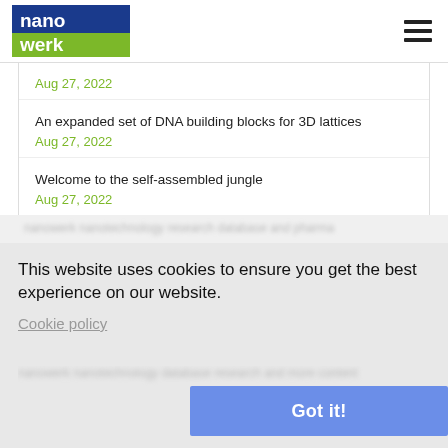nanowerk
Aug 27, 2022
An expanded set of DNA building blocks for 3D lattices
Aug 27, 2022
Welcome to the self-assembled jungle
Aug 27, 2022
This website uses cookies to ensure you get the best experience on our website.
Cookie policy
Got it!